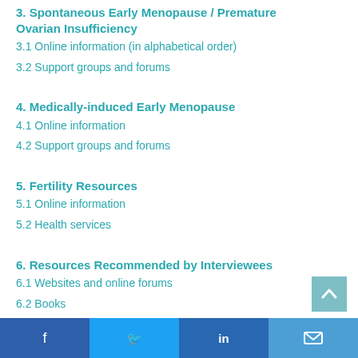3. Spontaneous Early Menopause / Premature Ovarian Insufficiency
3.1 Online information (in alphabetical order)
3.2 Support groups and forums
4. Medically-induced Early Menopause
4.1 Online information
4.2 Support groups and forums
5. Fertility Resources
5.1 Online information
5.2 Health services
6. Resources Recommended by Interviewees
6.1 Websites and online forums
6.2 Books
Facebook | Twitter | LinkedIn | Email